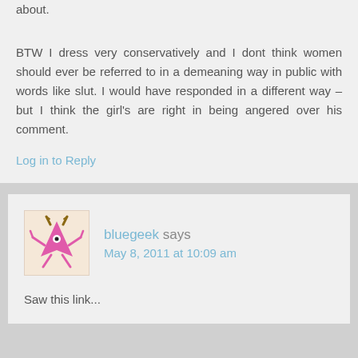about.
BTW I dress very conservatively and I dont think women should ever be referred to in a demeaning way in public with words like slut. I would have responded in a different way – but I think the girl's are right in being angered over his comment.
Log in to Reply
bluegeek says
May 8, 2011 at 10:09 am
Saw this link...